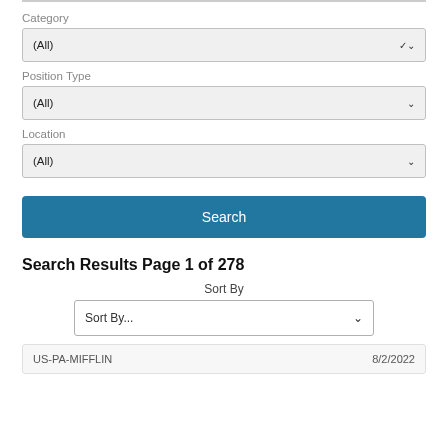Category
(All)
Position Type
(All)
Location
(All)
Search
Search Results Page 1 of 278
Sort By
Sort By...
US-PA-MIFFLIN